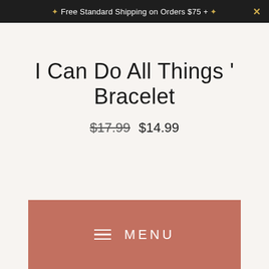✦ Free Standard Shipping on Orders $75 + ✦
I Can Do All Things ' Bracelet
$17.99  $14.99